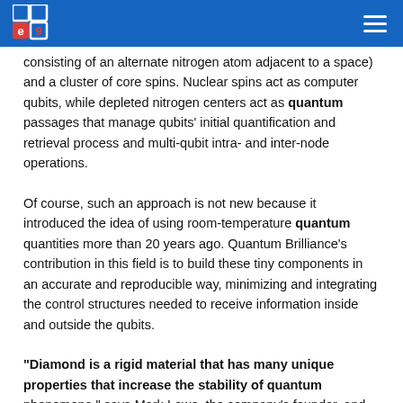Quantum Brilliance logo and navigation
consisting of an alternate nitrogen atom adjacent to a space) and a cluster of core spins. Nuclear spins act as computer qubits, while depleted nitrogen centers act as quantum passages that manage qubits' initial quantification and retrieval process and multi-qubit intra- and inter-node operations.
Of course, such an approach is not new because it introduced the idea of using room-temperature quantum quantities more than 20 years ago. Quantum Brilliance's contribution in this field is to build these tiny components in an accurate and reproducible way, minimizing and integrating the control structures needed to receive information inside and outside the qubits.
“Diamond is a rigid material that has many unique properties that increase the stability of quantum phenomena,” says Mark Lowe, the company’s founder, and CEO. “This makes it possible to use new technology to interact with most classic control systems.”